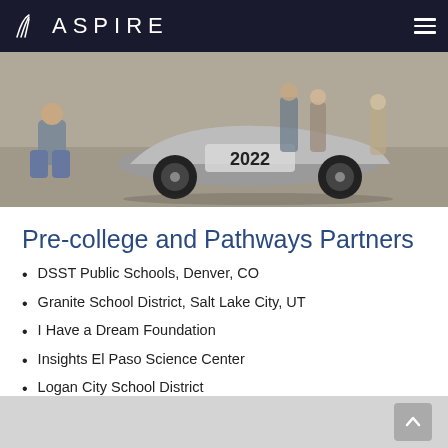ASPIRE
[Figure (photo): Students with a 2022 solar/electric race car on pavement, one person crouching near the wheel]
Pre-college and Pathways Partners
DSST Public Schools, Denver, CO
Granite School District, Salt Lake City, UT
I Have a Dream Foundation
Insights El Paso Science Center
Logan City School District